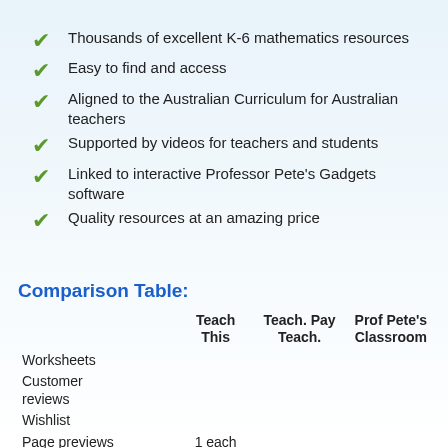Thousands of excellent K-6 mathematics resources
Easy to find and access
Aligned to the Australian Curriculum for Australian teachers
Supported by videos for teachers and students
Linked to interactive Professor Pete's Gadgets software
Quality resources at an amazing price
Comparison Table:
|  | Teach This | Teach. Pay Teach. | Prof Pete's Classroom |
| --- | --- | --- | --- |
| Worksheets |  |  |  |
| Customer reviews |  |  |  |
| Wishlist |  |  |  |
| Page previews | 1 each |  |  |
| Lesson plans |  |  |  |